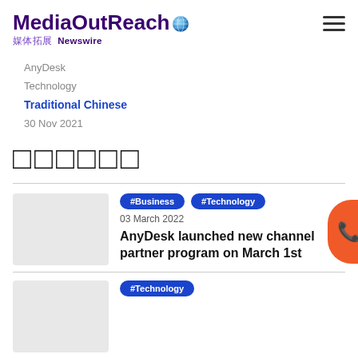MediaOutReach 媒体拓展 Newswire
AnyDesk
Technology
Traditional Chinese
30 Nov 2021
#Business #Technology
03 March 2022
AnyDesk launched new channel partner program on March 1st
#Technology